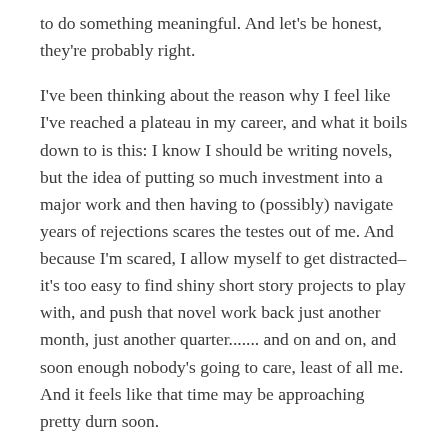to do something meaningful. And let's be honest, they're probably right.
I've been thinking about the reason why I feel like I've reached a plateau in my career, and what it boils down to is this: I know I should be writing novels, but the idea of putting so much investment into a major work and then having to (possibly) navigate years of rejections scares the testes out of me. And because I'm scared, I allow myself to get distracted– it's too easy to find shiny short story projects to play with, and push that novel work back just another month, just another quarter....... and on and on, and soon enough nobody's going to care, least of all me. And it feels like that time may be approaching pretty durn soon.
Lyn's been feeling stagnant lately, and being her, just not the ball-drop approach to a conclusion without